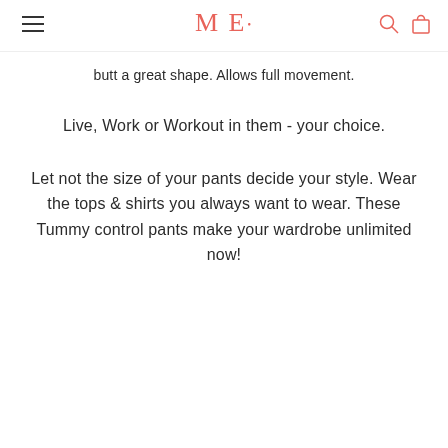ME
butt a great shape. Allows full movement.
Live, Work or Workout in them - your choice.
Let not the size of your pants decide your style. Wear the tops & shirts you always want to wear. These Tummy control pants make your wardrobe unlimited now!